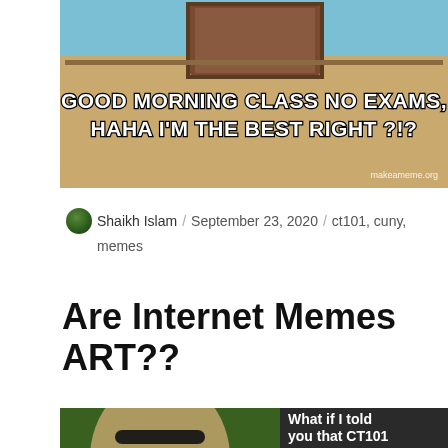[Figure (photo): Meme image with text: GOOD MORNING CLASS NO EXAMS, HAHA I'M THE BEST RIGHT ?!? with makeameme.org watermark]
Shaikh Islam / September 23, 2020 / ct101, cuny, memes
Are Internet Memes ART??
[Figure (photo): Morpheus meme image with text: What if I told you that CT101 was by far your]